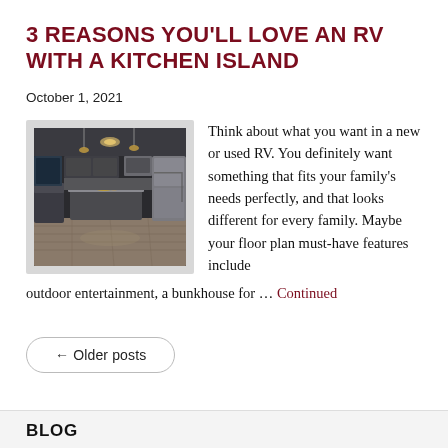3 REASONS YOU'LL LOVE AN RV WITH A KITCHEN ISLAND
October 1, 2021
[Figure (photo): Interior photo of an RV kitchen with an island, modern appliances, stainless steel refrigerator, pendant lighting, and grey wood-look flooring.]
Think about what you want in a new or used RV. You definitely want something that fits your family's needs perfectly, and that looks different for every family. Maybe your floor plan must-have features include outdoor entertainment, a bunkhouse for … Continued
← Older posts
BLOG